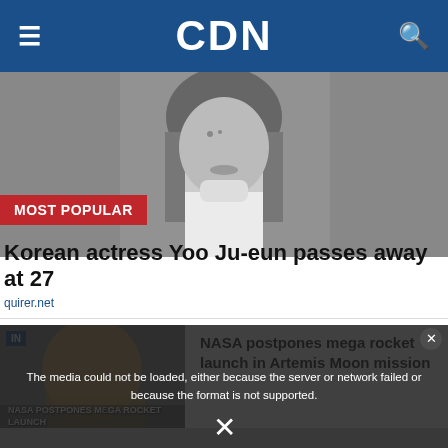CDN
[Figure (photo): Black and white photo of Korean actress Yoo Ju-eun looking upward, wearing a white turtleneck]
MOST POPULAR
Korean actress Yoo Ju-eun passes away at 27
quirer.net
[Figure (photo): Photo of a blonde woman, partially visible; NASA Artemis Moon Mission video thumbnail overlay with error message: The media could not be loaded, either because the server or network failed or because the format is not supported.]
NASA postpones mega rocket launch in Artemis Moon mission
NASA POSTPONES MEGA ROCKET LAUNCH IN ARTEMIS MOON MISSION